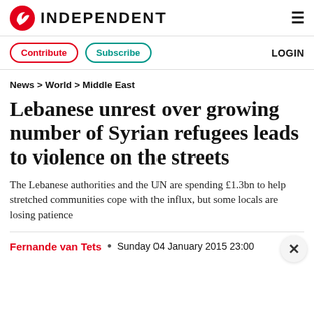INDEPENDENT
Contribute  Subscribe  LOGIN
News > World > Middle East
Lebanese unrest over growing number of Syrian refugees leads to violence on the streets
The Lebanese authorities and the UN are spending £1.3bn to help stretched communities cope with the influx, but some locals are losing patience
Fernande van Tets • Sunday 04 January 2015 23:00